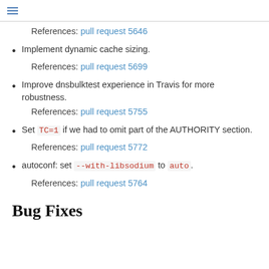≡
References: pull request 5646
Implement dynamic cache sizing.
References: pull request 5699
Improve dnsbulktest experience in Travis for more robustness.
References: pull request 5755
Set TC=1 if we had to omit part of the AUTHORITY section.
References: pull request 5772
autoconf: set --with-libsodium to auto.
References: pull request 5764
Bug Fixes